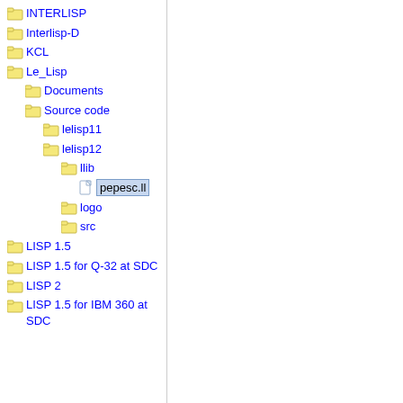INTERLISP
Interlisp-D
KCL
Le_Lisp
Documents
Source code
lelisp11
lelisp12
llib
pepesc.ll
logo
src
LISP 1.5
LISP 1.5 for Q-32 at SDC
LISP 2
LISP 1.5 for IBM 360 at SDC